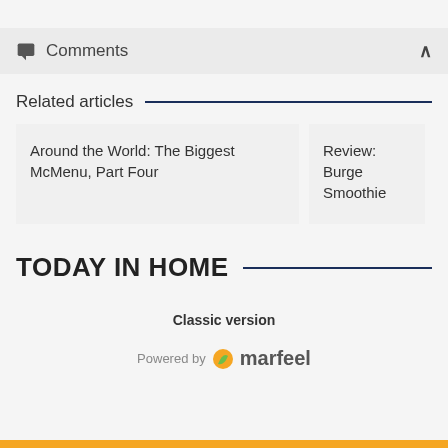Comments
Related articles
Around the World: The Biggest McMenu, Part Four
Review: Burge Smoothie
TODAY IN HOME
Classic version
Powered by marfeel